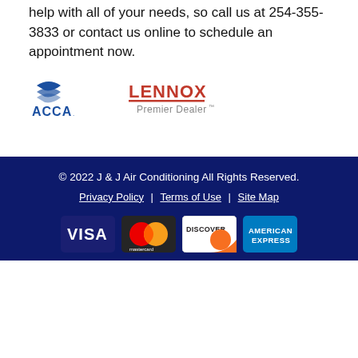help with all of your needs, so call us at 254-355-3833 or contact us online to schedule an appointment now.
[Figure (logo): ACCA logo - blue shield with wave lines and ACCA text]
[Figure (logo): Lennox Premier Dealer logo - red and grey text]
© 2022 J & J Air Conditioning All Rights Reserved.
Privacy Policy | Terms of Use | Site Map
[Figure (other): Payment method icons: Visa, Mastercard, Discover, American Express]